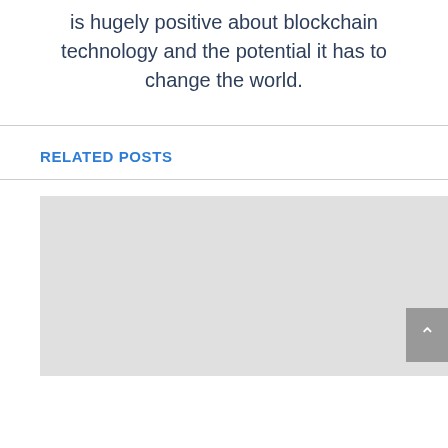is hugely positive about blockchain technology and the potential it has to change the world.
RELATED POSTS
[Figure (other): Gray placeholder image block for a related post thumbnail]